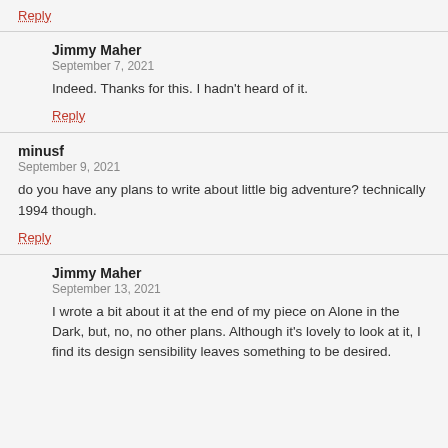Reply
Jimmy Maher
September 7, 2021
Indeed. Thanks for this. I hadn't heard of it.
Reply
minusf
September 9, 2021
do you have any plans to write about little big adventure? technically 1994 though.
Reply
Jimmy Maher
September 13, 2021
I wrote a bit about it at the end of my piece on Alone in the Dark, but, no, no other plans. Although it's lovely to look at it, I find its design sensibility leaves something to be desired.